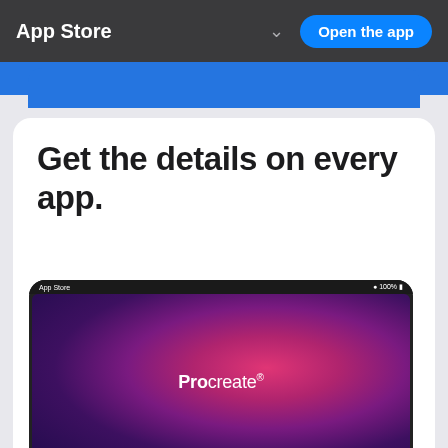App Store
worldwide.
Get the details on every app.
[Figure (screenshot): iPad screenshot of the Procreate app page on the App Store, showing the Procreate splash screen with a dark purple/pink gradient background and the Procreate logo text. Below is the app detail strip showing the Procreate icon, name 'Procreate', subtitle 'Sketch, paint, create.', price button '$9.99', and stats row with ratings 4.5 stars, version (3 Apps), age 4+, chart #1, category Graphics & Design, language EN +12 More, size 310.7 MB.]